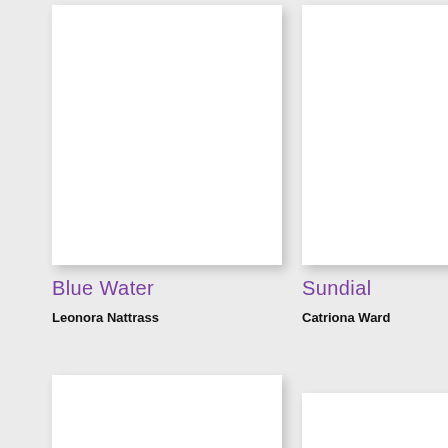[Figure (illustration): Book cover placeholder for Blue Water, white rectangle with drop shadow]
Blue Water
Leonora Nattrass
[Figure (illustration): Book cover placeholder for Sundial, white rectangle with drop shadow]
Sundial
Catriona Ward
[Figure (illustration): Book cover placeholder bottom left, white rectangle with drop shadow, partially visible]
[Figure (illustration): Book cover placeholder bottom right, white rectangle with drop shadow, partially visible]